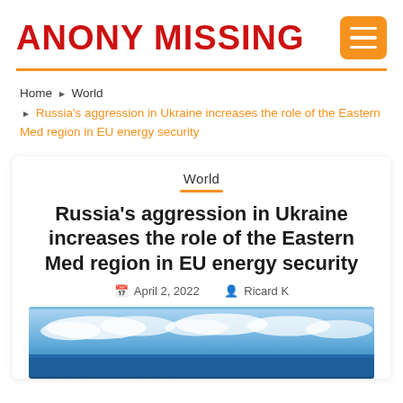ANONY MISSING
Home › World › Russia's aggression in Ukraine increases the role of the Eastern Med region in EU energy security
World
Russia's aggression in Ukraine increases the role of the Eastern Med region in EU energy security
April 2, 2022  Ricard K
[Figure (photo): Aerial/seascape photo showing blue sky with clouds over the sea, likely the Eastern Mediterranean region.]